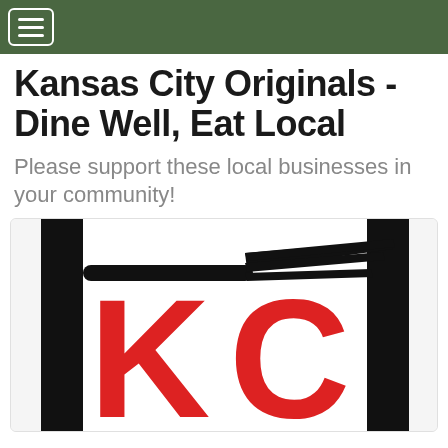[hamburger menu button]
Kansas City Originals - Dine Well, Eat Local
Please support these local businesses in your community!
[Figure (logo): Kansas City Originals logo: large bold red 'KC' letters with a black fork silhouette above them, flanked by thick black vertical bars on left and right, on a white background]